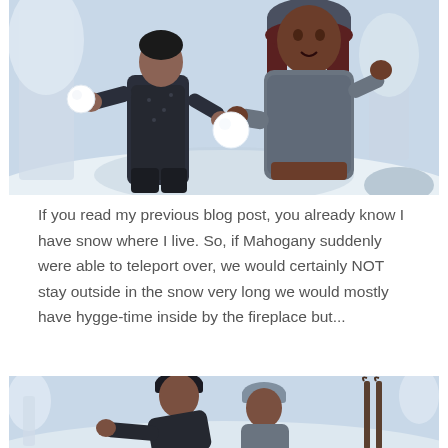[Figure (photo): Digital/3D rendered image of two avatar characters in a snowy winter scene. A man on the left in a dark patterned sweater holds a snowball ready to throw; a woman on the right in a grey knit hat and cropped grey sweater holds a snowball. Background shows frost-covered trees and a pale winter sky.]
If you read my previous blog post, you already know I have snow where I live. So, if Mahogany suddenly were able to teleport over, we would certainly NOT stay outside in the snow very long we would mostly have hygge-time inside by the fireplace but...
[Figure (photo): Partial digital/3D rendered image of two avatar characters in a snowy scene. A man in a dark patterned sweater and black beanie leans forward, a woman in a grey beanie is beside him, and ski poles or skis are visible on the right side.]